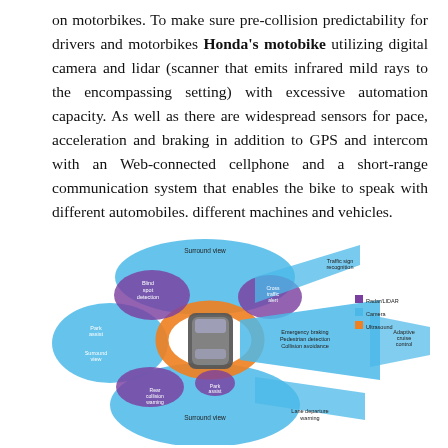on motorbikes. To make sure pre-collision predictability for drivers and motorbikes Honda's motobike utilizing digital camera and lidar (scanner that emits infrared mild rays to the encompassing setting) with excessive automation capacity. As well as there are widespread sensors for pace, acceleration and braking in addition to GPS and intercom with an Web-connected cellphone and a short-range communication system that enables the bike to speak with different automobiles. different machines and vehicles.
[Figure (infographic): Diagram of a car viewed from above, surrounded by sensor coverage zones labeled: Surround view (top), Blind spot detection (top-left), Park assist (left), Surround view (left), Rear collision warning (bottom-left), Surround view (bottom), Lane departure warning (bottom-right), Emergency braking / Pedestrian detection / Collision avoidance (right-front), Cross traffic alert (front-right), Traffic sign recognition (top-right), Adaptive cruise control (far right). Legend shows: Radar/LIDAR (purple), Camera (blue), Ultrasound (orange).]